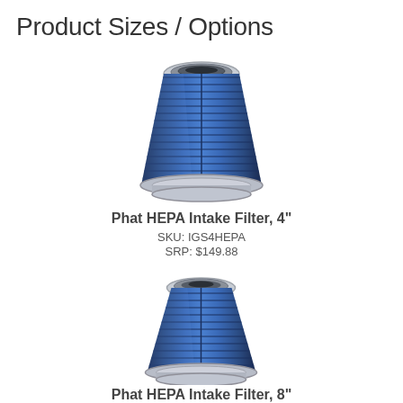Product Sizes / Options
[Figure (photo): Blue conical HEPA intake air filter with chrome top ring and chrome base, tall cone shape]
Phat HEPA Intake Filter, 4"
SKU: IGS4HEPA
SRP: $149.88
[Figure (photo): Blue conical HEPA intake air filter with chrome top ring and chrome base, shorter and wider cone shape]
Phat HEPA Intake Filter, 8"